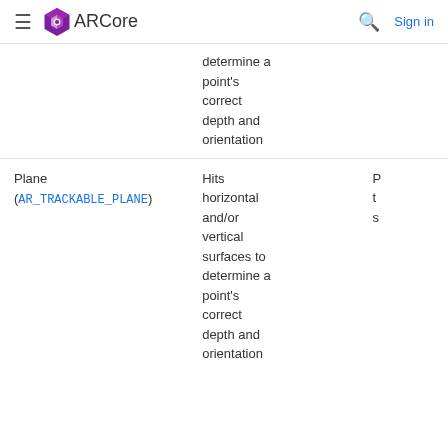≡  ARCore  🔍  Sign in
| Type | Description | Col3 |
| --- | --- | --- |
|  | determine a point's correct depth and orientation |  |
| Plane (AR_TRACKABLE_PLANE) | Hits horizontal and/or vertical surfaces to determine a point's correct depth and orientation | P t s |